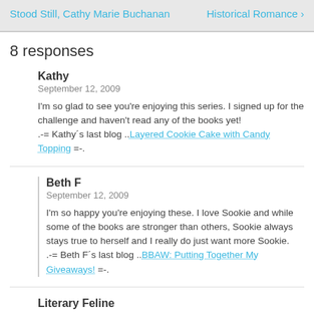Stood Still, Cathy Marie Buchanan | Historical Romance >
8 responses
Kathy
September 12, 2009

I'm so glad to see you're enjoying this series. I signed up for the challenge and haven't read any of the books yet! .-= Kathy´s last blog ..Layered Cookie Cake with Candy Topping =-.
Beth F
September 12, 2009

I'm so happy you're enjoying these. I love Sookie and while some of the books are stronger than others, Sookie always stays true to herself and I really do just want more Sookie. .-= Beth F´s last blog ..BBAW: Putting Together My Giveaways! =-.
Literary Feline